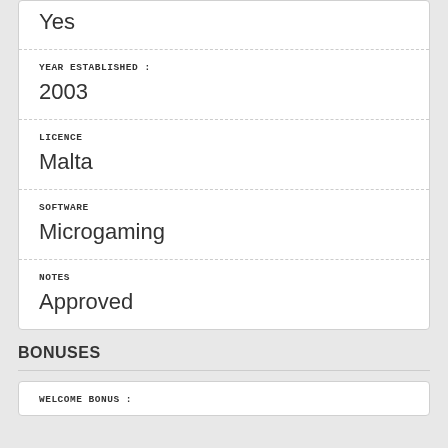Yes
YEAR ESTABLISHED :
2003
LICENCE
Malta
SOFTWARE
Microgaming
NOTES
Approved
BONUSES
WELCOME BONUS :